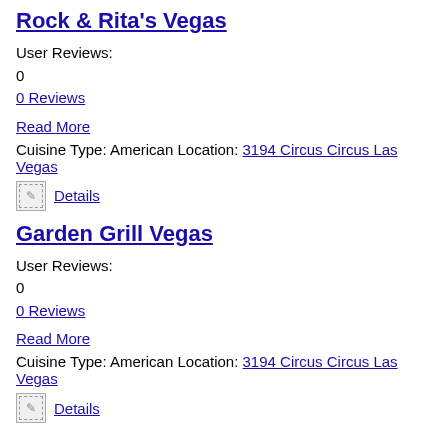Rock & Rita's Vegas
User Reviews:
0
0 Reviews
Read More
Cuisine Type: American Location: 3194 Circus Circus Las Vegas
Details
Garden Grill Vegas
User Reviews:
0
0 Reviews
Read More
Cuisine Type: American Location: 3194 Circus Circus Las Vegas
Details